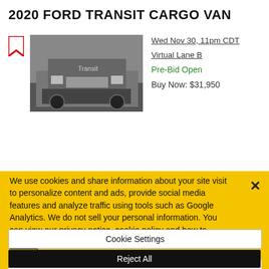2020 FORD TRANSIT CARGO VAN
[Figure (photo): Photo of a 2020 Ford Transit Cargo Van undercarriage/rear view, grayscale]
Wed Nov 30, 11pm CDT
Virtual Lane B
Pre-Bid Open
Buy Now: $31,950
We use cookies and share information about your site visit to personalize content and ads, provide social media features and analyze traffic using tools such as Google Analytics. We do not sell your personal information. You can view our privacy notice, cookie policy and how to exercise your rights by clicking the following link. Privacy Notice
Cookie Settings
Reject All
Accept Cookies